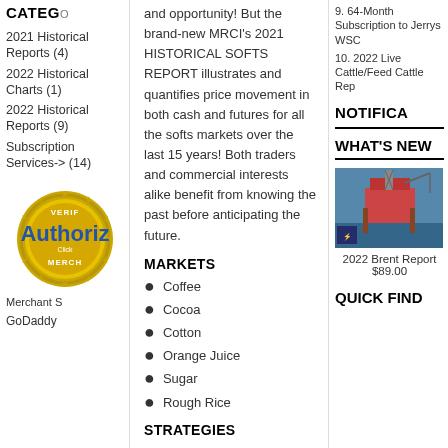CATEG(ORIES)
2021 Historical Reports (4)
2022 Historical Charts (1)
2022 Historical Reports (9)
Subscription Services-> (14)
[Figure (logo): Authorize.Net Verified Merchant Seal badge in gold/yellow]
Merchant S(eal)
GoDaddy
and opportunity! But the brand-new MRCI's 2021 HISTORICAL SOFTS REPORT illustrates and quantifies price movement in both cash and futures for all the softs markets over the last 15 years! Both traders and commercial interests alike benefit from knowing the past before anticipating the future.
MARKETS
Coffee
Cocoa
Cotton
Orange Juice
Sugar
Rough Rice
STRATEGIES
66 Outright Trade Strategies
17 Spread Trade Strategies
CHARTS
Seasonal Pattern and Weekly Charts
Inter- & Intra-market Spreads
Volatility
Bull/Bear
9. 64-Month Subscription to Jerrys WSC
10. 2022 Live Cattle/Feed Cattle Rep(ort)
NOTIFICA(TIONS)
WHAT'S NEW
[Figure (photo): 2022 Brent Report product image showing an oil rig platform]
2022 Brent Report $89.00
QUICK FIND